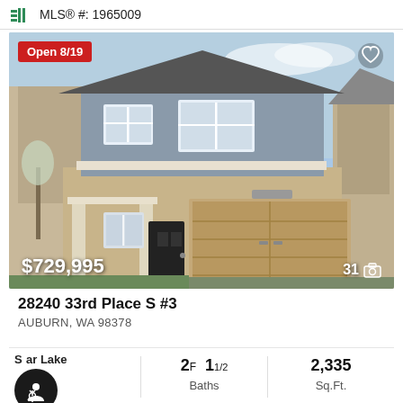MLS® #: 1965009
[Figure (photo): Two-story house exterior with tan siding on lower level and gray shingle on upper level, two-car garage, small porch with columns. Open house badge reading 'Open 8/19' in red at top left. Price $729,995 at bottom left. Photo count 31 at bottom right.]
28240 33rd Place S #3
AUBURN, WA 98378
Star Lake
2F 1 1/2 Baths
2,335 Sq.Ft.
Beds